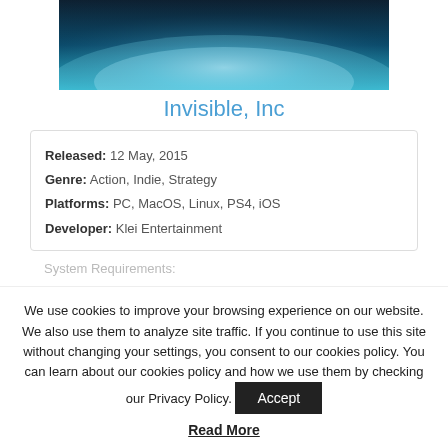[Figure (illustration): Game artwork showing sci-fi characters against a glowing planet or horizon with teal and blue lighting]
Invisible, Inc
Released: 12 May, 2015
Genre: Action, Indie, Strategy
Platforms: PC, MacOS, Linux, PS4, iOS
Developer: Klei Entertainment
System Requirements:
We use cookies to improve your browsing experience on our website. We also use them to analyze site traffic. If you continue to use this site without changing your settings, you consent to our cookies policy. You can learn about our cookies policy and how we use them by checking our Privacy Policy.
Accept
Read More